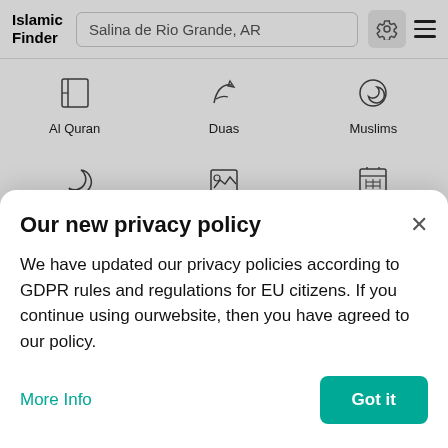Islamic Finder — Salina de Rio Grande, AR
[Figure (screenshot): App navigation icon grid with three rows: Row 1: Al Quran (book icon), Duas (hand/pen icon), Muslims (crescent icon). Row 2: Special Islamic Days (moon icon), Islamic Gallery (mountains/image icon), Calendar (calendar icon). Row 3: Hadith (bookmark icon), Qibla Direction (compass icon), Islamic Places (location pin icon).]
Our new privacy policy
We have updated our privacy policies according to GDPR rules and regulations for EU citizens. If you continue using ourwebsite, then you have agreed to our policy.
More Info
Got it